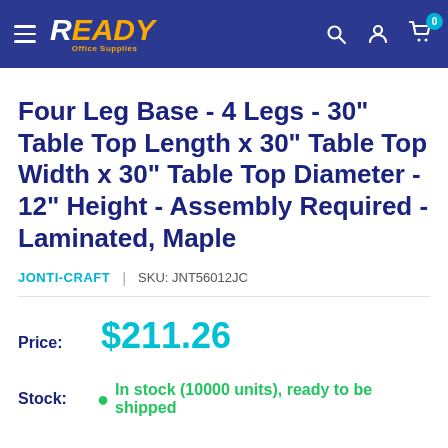Ready Office Supplies — navigation header with logo, search, account, and cart icons
Four Leg Base - 4 Legs - 30" Table Top Length x 30" Table Top Width x 30" Table Top Diameter - 12" Height - Assembly Required - Laminated, Maple
JONTI-CRAFT | SKU: JNT56012JC
Price: $211.26
Stock: In stock (10000 units), ready to be shipped